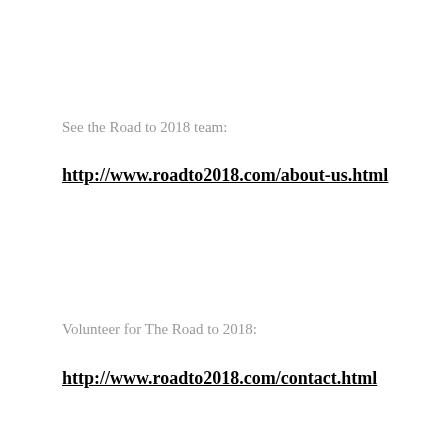See the Road to 2018 team:
http://www.roadto2018.com/about-us.html
Volunteer for The Road to 2018:
http://www.roadto2018.com/contact.html